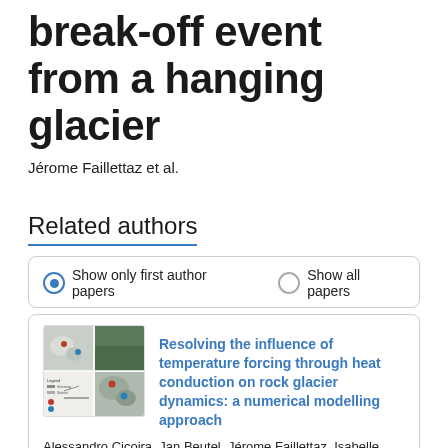break-off event from a hanging glacier
Jérome Faillettaz et al.
Related authors
Show only first author papers   Show all papers
[Figure (photo): Thumbnail image composite showing aerial/satellite imagery of a glacier area with colored markers, a topographic map, and a legend]
Resolving the influence of temperature forcing through heat conduction on rock glacier dynamics: a numerical modelling approach
Alessandro Cicoira, Jan Beutel, Jérome Faillettaz, Isabelle